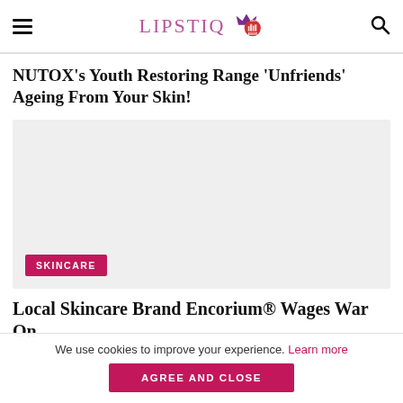LIPSTIQ
NUTOX’s Youth Restoring Range ‘Unfriends’ Ageing From Your Skin!
[Figure (photo): Grey placeholder image with a pink SKINCARE badge in the lower left]
Local Skincare Brand Encorium® Wages War On
We use cookies to improve your experience. Learn more
AGREE AND CLOSE